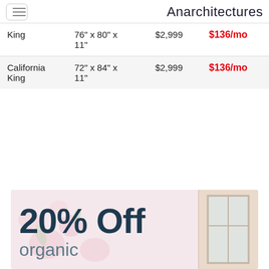Anarchitectures
| King | 76" x 80" x 11" | $2,999 | $136/mo |
| California King | 72" x 84" x 11" | $2,999 | $136/mo |
[Figure (photo): Advertisement banner showing '20% Off organic' text overlay on a bedroom/home decor background image with floral wallpaper and a window on the right side]